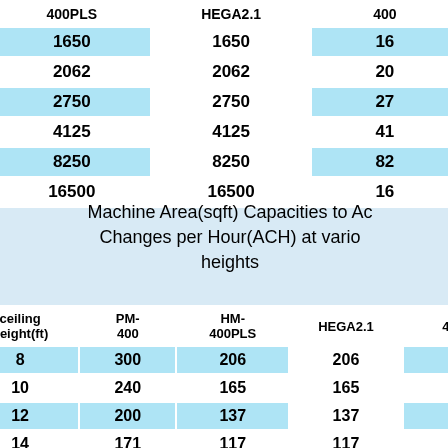| ACH | 400 | 400PLS | HEGA2.1 | 400... |
| --- | --- | --- | --- | --- |
| 10 | 2400 | 1650 | 1650 | 16... |
| 8 | 3000 | 2062 | 2062 | 20... |
| 6 | 4000 | 2750 | 2750 | 27... |
| 4 | 6000 | 4125 | 4125 | 41... |
| 2 | 12000 | 8250 | 8250 | 82... |
| 1 | 24000 | 16500 | 16500 | 16... |
Machine Area(sqft) Capacities to Achieve Air Changes per Hour(ACH) at various ceiling heights
| ceiling height(ft) | PM-400 | HM-400PLS | HEGA2.1 | 4... |
| --- | --- | --- | --- | --- |
| 8 | 300 | 206 | 206 |  |
| 10 | 240 | 165 | 165 |  |
| 12 | 200 | 137 | 137 |  |
| 14 | 171 | 117 | 117 |  |
| 16 | 150 | 103 | 103 |  |